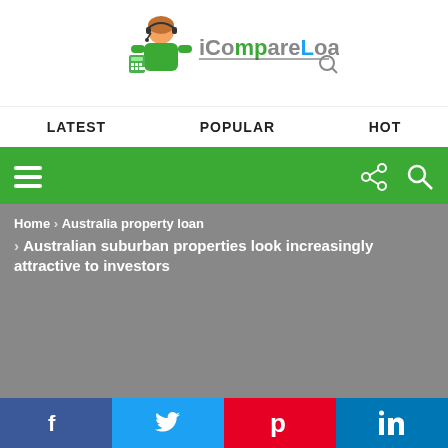[Figure (logo): iCompareLoan logo with illustrated female character and calculator graphic, text reads iCompareLoan]
LATEST   POPULAR   HOT
[Figure (infographic): Green navigation toolbar with hamburger menu icon on left and share/search icons on right]
Home › Australia property loan › Australian suburban properties look increasingly attractive to investors
[Figure (photo): Gray placeholder image area for article hero image]
[Figure (infographic): Social sharing footer bar with Facebook, Twitter, Pinterest and LinkedIn buttons]